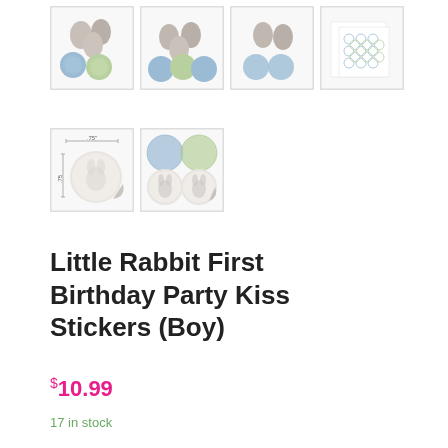[Figure (photo): Six product thumbnail images showing Little Rabbit First Birthday Party Kiss Stickers (Boy) - chocolate kisses with bunny stickers, sticker sheets, and individual sticker designs]
Little Rabbit First Birthday Party Kiss Stickers (Boy)
$10.99
17 in stock